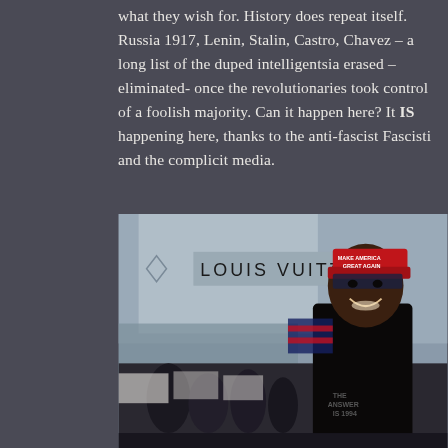what they wish for. History does repeat itself. Russia 1917, Lenin, Stalin, Castro, Chavez – a long list of the duped intelligentsia erased – eliminated- once the revolutionaries took control of a foolish majority. Can it happen here? It IS happening here, thanks to the anti-fascist Fascisti and the complicit media.
[Figure (photo): A smiling Black man wearing a red 'Make America Great Again' cap and dark bandana, standing in front of a Louis Vuitton store with a crowd of protesters in the background holding signs and an American flag.]